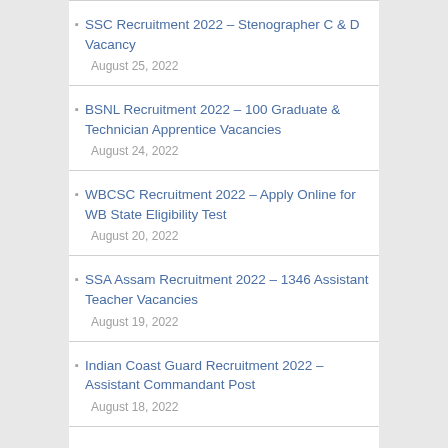SSC Recruitment 2022 – Stenographer C & D Vacancy
BSNL Recruitment 2022 – 100 Graduate & Technician Apprentice Vacancies
WBCSC Recruitment 2022 – Apply Online for WB State Eligibility Test
SSA Assam Recruitment 2022 – 1346 Assistant Teacher Vacancies
Indian Coast Guard Recruitment 2022 – Assistant Commandant Post